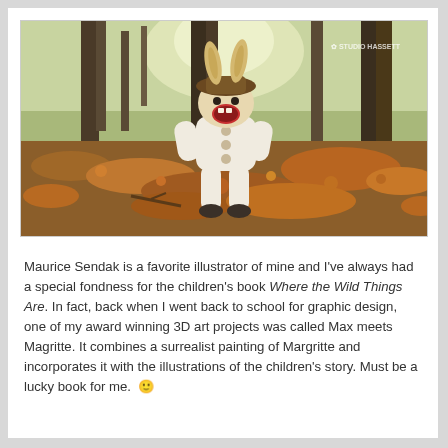[Figure (photo): A young child dressed in a white bunny/wild thing costume with rabbit ears and a brown hat, standing in an autumn forest with fallen leaves, mouth open wide as if roaring. Watermark reads STUDIO HASSETT in upper right.]
Maurice Sendak is a favorite illustrator of mine and I've always had a special fondness for the children's book Where the Wild Things Are. In fact, back when I went back to school for graphic design, one of my award winning 3D art projects was called Max meets Magritte. It combines a surrealist painting of Margritte and incorporates it with the illustrations of the children's story. Must be a lucky book for me. 🙂